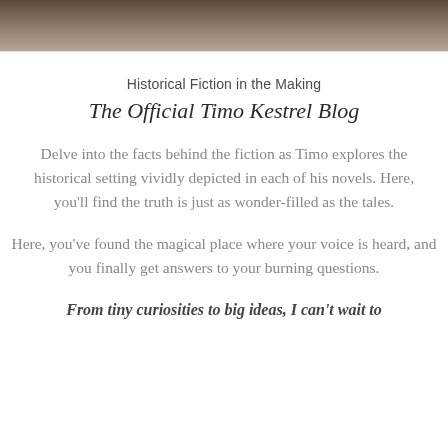[Figure (photo): Partial photograph at the top of the page showing a textured stone or rock surface in brown and tan tones]
Historical Fiction in the Making
The Official Timo Kestrel Blog
Delve into the facts behind the fiction as Timo explores the historical setting vividly depicted in each of his novels. Here, you'll find the truth is just as wonder-filled as the tales.
Here, you've found the magical place where your voice is heard, and you finally get answers to your burning questions.
From tiny curiosities to big ideas, I can't wait to